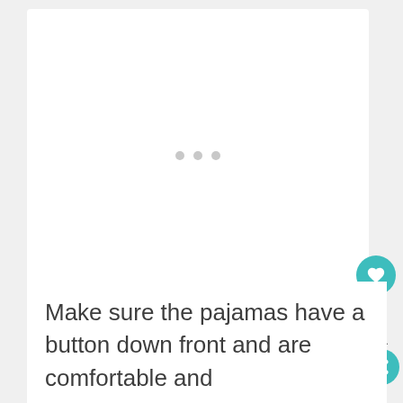[Figure (illustration): White card/panel with three grey loading dots centered in the middle, indicating an image is loading.]
Make sure the pajamas have a button down front and are comfortable and